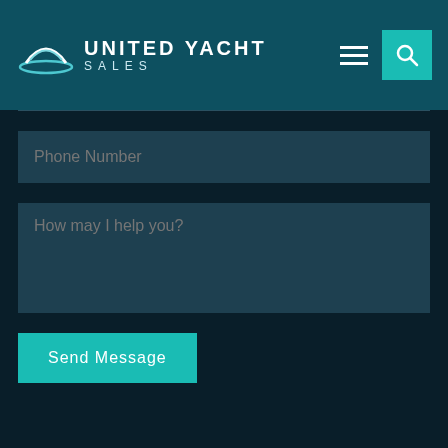UNITED YACHT SALES
Phone Number
How may I help you?
Send Message
[Figure (logo): United Yacht Sales logo with crescent/wave icon and company name in footer]
110 SW Atlanta Avenue
Stuart, FL 34994